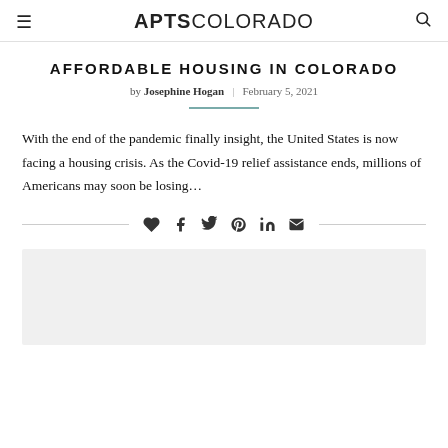APTSCOLORADO
AFFORDABLE HOUSING IN COLORADO
by Josephine Hogan | February 5, 2021
With the end of the pandemic finally insight, the United States is now facing a housing crisis. As the Covid-19 relief assistance ends, millions of Americans may soon be losing…
[Figure (illustration): Social share icons row: heart/like, Facebook, Twitter, Pinterest, LinkedIn, email]
[Figure (photo): Gray placeholder image block at the bottom of the article]